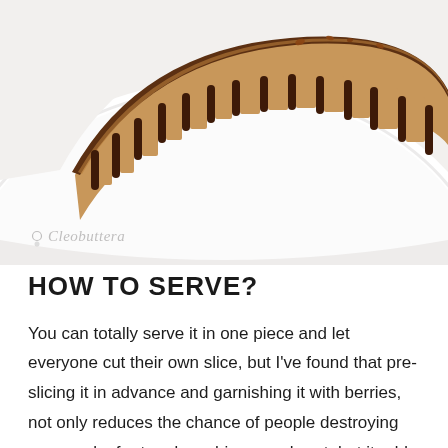[Figure (photo): Close-up photo of a chocolate cheesecake or tart with caramel/peanut butter filling, topped with chocolate drizzle dripping down the sides, sitting on a white plate. A 'Cleobuttera' watermark appears in the lower-left corner of the photo.]
HOW TO SERVE?
You can totally serve it in one piece and let everyone cut their own slice, but I've found that pre-slicing it in advance and garnishing it with berries, not only reduces the chance of people destroying your work of art and crushing your heart, but it adds this breathtaking wow